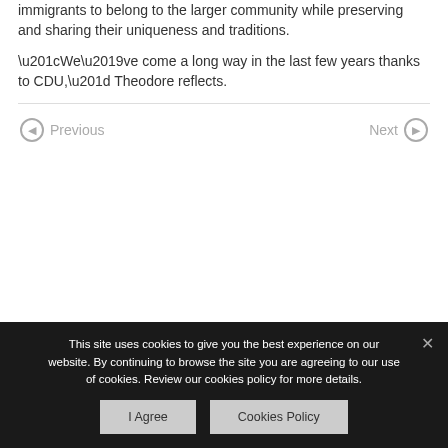immigrants to belong to the larger community while preserving and sharing their uniqueness and traditions.
“We’ve come a long way in the last few years thanks to CDU,” Theodore reflects.
Previous
Next
This site uses cookies to give you the best experience on our website. By continuing to browse the site you are agreeing to our use of cookies. Review our cookies policy for more details.
I Agree
Cookies Policy